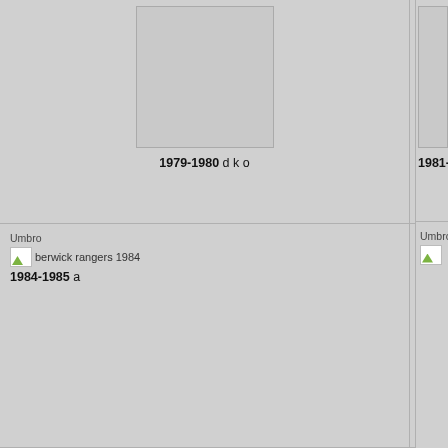[Figure (photo): Berwick Rangers 1979-1980 shirt placeholder image, top-left cell]
1979-1980 d k o
[Figure (photo): Berwick Rangers shirt placeholder image, top-middle cell (no label visible)]
[Figure (photo): Berwick Rangers 1981- shirt placeholder image, top-right cell (partially visible)]
1981-
Umbro
[Figure (photo): berwick rangers 1984 thumbnail image]
1984-1985 a
Umbro
[Figure (photo): berwick rangers 1985-86 thumbnail image]
1985-1986 a i m
Umbro
[Figure (photo): Berwick Rangers shirt thumbnail, partially visible right cell]